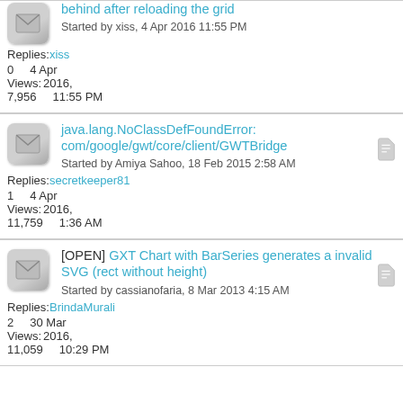behind after reloading the grid
Started by xiss, 4 Apr 2016 11:55 PM
Replies: xiss
0   4 Apr
Views: 2016,
7,956   11:55 PM
java.lang.NoClassDefFoundError: com/google/gwt/core/client/GWTBridge
Started by Amiya Sahoo, 18 Feb 2015 2:58 AM
Replies: secretkeeper81
1   4 Apr
Views: 2016,
11,759   1:36 AM
[OPEN] GXT Chart with BarSeries generates a invalid SVG (rect without height)
Started by cassianofaria, 8 Mar 2013 4:15 AM
Replies: BrindaMurali
2   30 Mar
Views: 2016,
11,059   10:29 PM